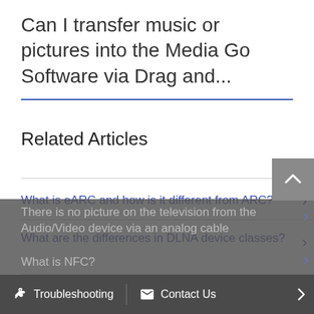Can I transfer music or pictures into the Media Go Software via Drag and...
Related Articles
What is eARC and how is it different from ARC?
What are the differences in DLNA device classes?
There is no picture on the television from the Audio/Video device via an analog cable
What is NFC?
Troubleshooting   Contact Us